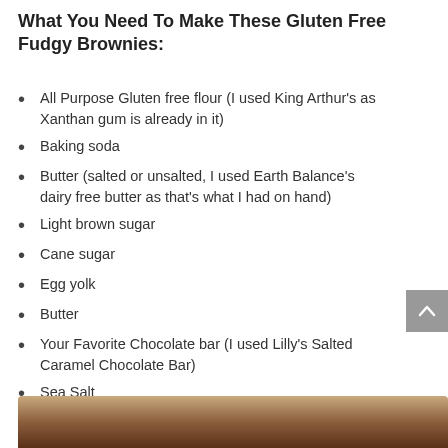What You Need To Make These Gluten Free Fudgy Brownies:
All Purpose Gluten free flour (I used King Arthur’s as Xanthan gum is already in it)
Baking soda
Butter (salted or unsalted, I used Earth Balance’s dairy free butter as that’s what I had on hand)
Light brown sugar
Cane sugar
Egg yolk
Butter
Your Favorite Chocolate bar (I used Lilly’s Salted Caramel Chocolate Bar)
Sea Salt
Vanilla extract
[Figure (photo): Bottom portion of a food photo showing brownies, partially visible at the bottom of the page]